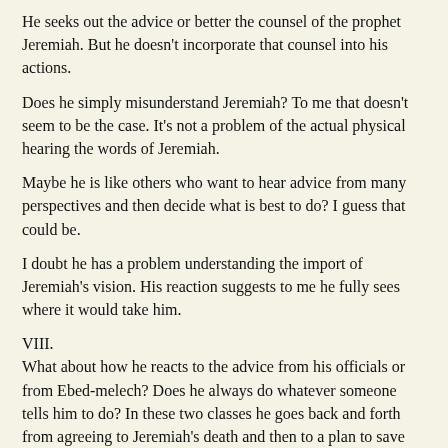He seeks out the advice or better the counsel of the prophet Jeremiah. But he doesn’t incorporate that counsel into his actions.
Does he simply misunderstand Jeremiah? To me that doesn’t seem to be the case. It’s not a problem of the actual physical hearing the words of Jeremiah.
Maybe he is like others who want to hear advice from many perspectives and then decide what is best to do? I guess that could be.
I doubt he has a problem understanding the import of Jeremiah’s vision. His reaction suggests to me he fully sees where it would take him.
VIII.
What about how he reacts to the advice from his officials or from Ebed-melech? Does he always do whatever someone tells him to do? In these two classes he goes back and forth from agreeing to Jeremiah’s death and then to a plan to save him.
Why? Does he want to be able to hear from Jeremiah after all? But then he doesn’t follow the path Jeremiah offers him.
IX.
All this leads me to wonder what is at the core of King Zedekiah’s character? What is his deepest problem?